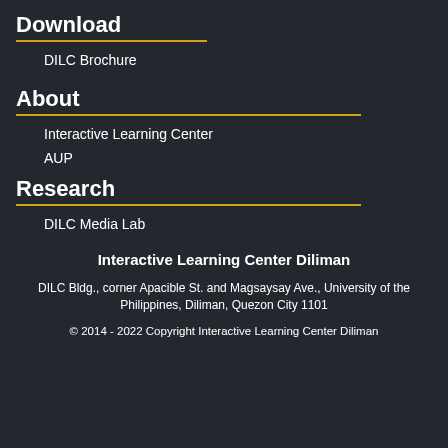Download
DILC Brochure
About
Interactive Learning Center
AUP
Research
DILC Media Lab
Interactive Learning Center Diliman
DILC Bldg., corner Apacible St. and Magsaysay Ave., University of the Philippines, Diliman, Quezon City 1101
© 2014 - 2022 Copyright Interactive Learning Center Diliman